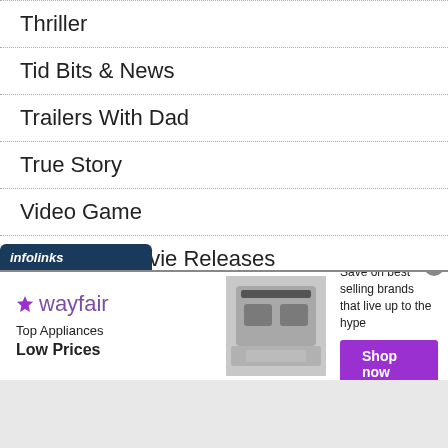Thriller
Tid Bits & News
Trailers With Dad
True Story
Video Game
Weekend Movie Releases
Western
[Figure (infographic): Wayfair advertisement banner with infolinks label. Top Appliances Low Prices. Save on best selling brands that live up to the hype. Shop now button.]